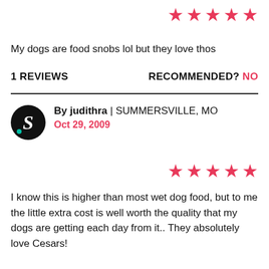[Figure (other): Five red star rating icons displayed in a row, top right]
My dogs are food snobs lol but they love thos
1 REVIEWS
RECOMMENDED? NO
[Figure (other): Black circular avatar with white italic S letter and teal dot]
By judithra | SUMMERSVILLE, MO
Oct 29, 2009
[Figure (other): Five red star rating icons displayed in a row]
I know this is higher than most wet dog food, but to me the little extra cost is well worth the quality that my dogs are getting each day from it.. They absolutely love Cesars!